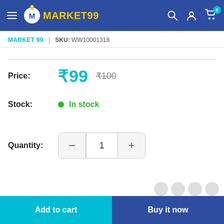MARKET99 — navigation header with hamburger menu, logo, search, account, and cart icons
MARKET 99 | SKU: WW10001318
Price: ₹99  ₹100
Stock: In stock
Quantity: 1
Add to cart | Buy it now